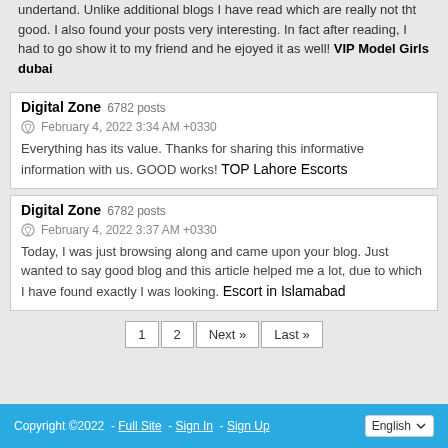undertand. Unlike additional blogs I have read which are really not tht good. I also found your posts very interesting. In fact after reading, I had to go show it to my friend and he ejoyed it as well! VIP Model Girls dubai
Digital Zone  6782 posts
February 4, 2022 3:34 AM +0330
Everything has its value. Thanks for sharing this informative information with us. GOOD works! TOP Lahore Escorts
Digital Zone  6782 posts
February 4, 2022 3:37 AM +0330
Today, I was just browsing along and came upon your blog. Just wanted to say good blog and this article helped me a lot, due to which I have found exactly I was looking. Escort in Islamabad
1  2  Next »  Last »
Copyright ©2022  -  Full Site  -  Sign In  -  Sign Up   English